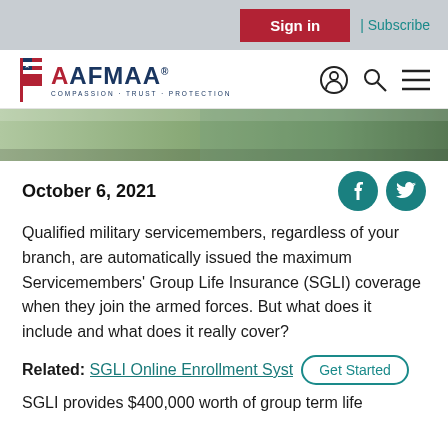Sign in | Subscribe
[Figure (logo): AAFMAA logo with American flag icon and tagline COMPASSION · TRUST · PROTECTION, with user/search/menu icons on right]
[Figure (photo): Hero image strip showing outdoor military/patriotic scene]
October 6, 2021
Qualified military servicemembers, regardless of your branch, are automatically issued the maximum Servicemembers' Group Life Insurance (SGLI) coverage when they join the armed forces. But what does it include and what does it really cover?
Related: SGLI Online Enrollment Syst... Get Started
SGLI provides $400,000 worth of group term life